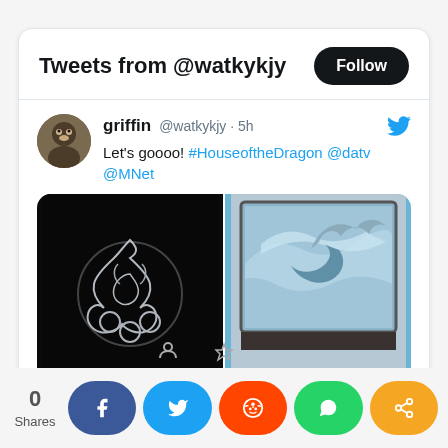Tweets from @watkykjy
griffin @watkykjy · 5h
Let's goooo! #HouseoftheDragon @datv @MNet
[Figure (screenshot): Two side-by-side photos: left shows black background with glowing dragon sigil (Targaryen three-headed dragon), right shows a TV screen displaying a flying dragon against sky]
0 Shares
[Figure (infographic): Social share buttons: Facebook (blue), Twitter (blue), Reddit (orange), WhatsApp (green), Share (orange)]